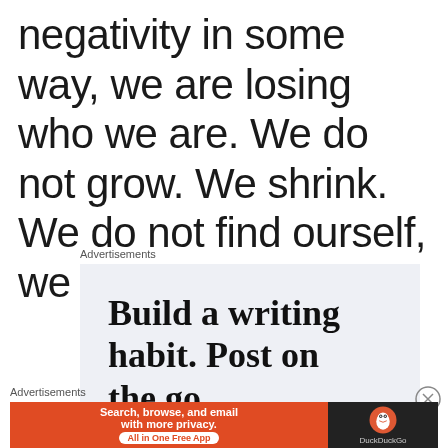negativity in some way, we are losing who we are. We do not grow. We shrink. We do not find ourself, we lose ourself!.
Advertisements
[Figure (other): Advertisement box with text 'Build a writing habit. Post on the go' on a light blue-grey background, partially cut off]
[Figure (other): Close/dismiss button (X in circle) for advertisement]
Advertisements
[Figure (other): DuckDuckGo banner advertisement: orange section with 'Search, browse, and email with more privacy. All in One Free App' and dark section with DuckDuckGo logo and name]